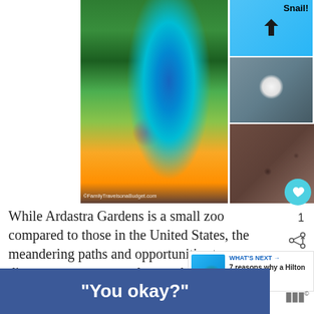[Figure (photo): Photo collage of animals at Ardastra Gardens: large parrot/macaw on the left, snail with arrow label top center, bird in cage top right, person at zoo middle center, ground/snails bottom right]
While Ardastra Gardens is a small zoo compared to those in the United States, the meandering paths and opportunities to discover creatures up close makes up for it. We found lizards, spiders, snails and
[Figure (screenshot): What's Next panel: thumbnail of tropical scene, label WHAT'S NEXT, title '7 reasons why a Hilton day...']
[Figure (other): Ad banner: blue background with text "You okay?"]